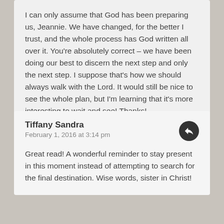I can only assume that God has been preparing us, Jeannie. We have changed, for the better I trust, and the whole process has God written all over it. You're absolutely correct – we have been doing our best to discern the next step and only the next step. I suppose that's how we should always walk with the Lord. It would still be nice to see the whole plan, but I'm learning that it's more interesting to wait and see! Thanks!
Tiffany Sandra
February 1, 2016 at 3:14 pm
Great read! A wonderful reminder to stay present in this moment instead of attempting to search for the final destination. Wise words, sister in Christ!